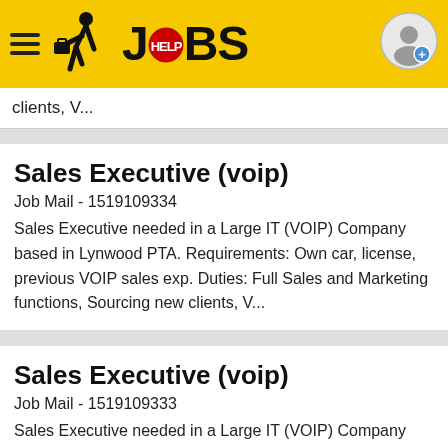JOBS
clients, V...
Sales Executive (voip)
Job Mail - 1519109334
Sales Executive needed in a Large IT (VOIP) Company based in Lynwood PTA. Requirements: Own car, license, previous VOIP sales exp. Duties: Full Sales and Marketing functions, Sourcing new clients, V...
Sales Executive (voip)
Job Mail - 1519109333
Sales Executive needed in a Large IT (VOIP) Company based in Lynwood PTA. Requirements: Own car, license, previous VOIP sales exp. Duties: Full Sales and Marketing functions, Sourcing new clients, V...